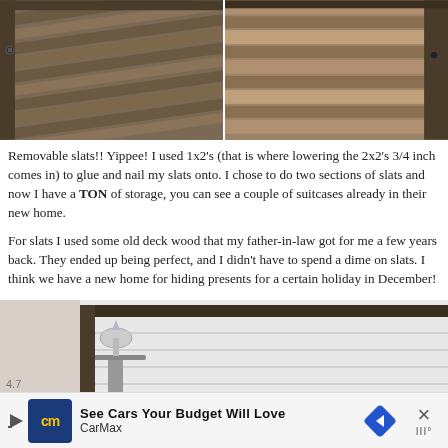[Figure (photo): Two side-by-side close-up photos of a wooden bed frame with removable slats, showing the wood grain and hardware detail]
Removable slats!!  Yippee!  I used 1x2's (that is where lowering the 2x2's 3/4 inch comes in) to glue and nail my slats onto.  I chose to do two sections of slats and now I have a TON of storage, you can see a couple of suitcases already in their new home.
For slats I used some old deck wood that my father-in-law got for me a few years back.  They ended up being perfect, and I didn't have to spend a dime on slats.  I think we have a new home for hiding presents for a certain holiday in December!
[Figure (photo): Photo of a rustic wooden platform bed frame with visible slats, a small side table with a lamp in the background, against a white shiplap wall]
See Cars Your Budget Will Love
CarMax